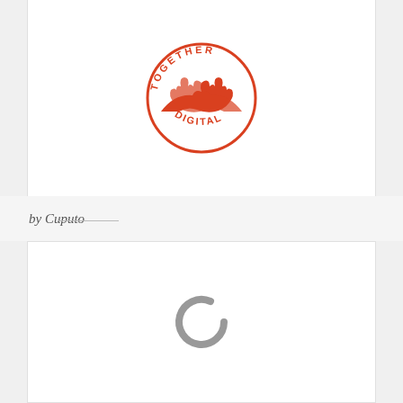[Figure (logo): Toubager Digital logo — red/orange circular badge with two hands shaking in the center and text 'DIGITAL' across the middle, 'TOUbGER' around the top arc]
by Cuputo
[Figure (other): Loading spinner — a gray partial circle 'C' shape indicating a loading/spinner animation state]